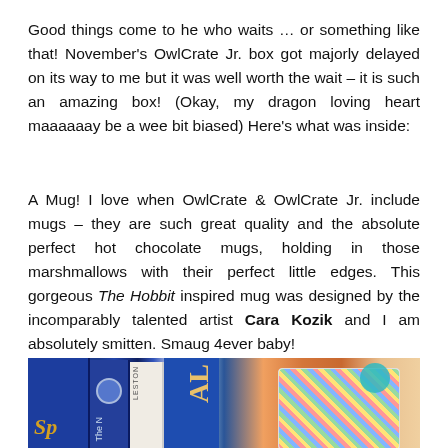Good things come to he who waits … or something like that! November's OwlCrate Jr. box got majorly delayed on its way to me but it was well worth the wait – it is such an amazing box! (Okay, my dragon loving heart maaaaaay be a wee bit biased) Here's what was inside:
A Mug! I love when OwlCrate & OwlCrate Jr. include mugs – they are such great quality and the absolute perfect hot chocolate mugs, holding in those marshmallows with their perfect little edges. This gorgeous The Hobbit inspired mug was designed by the incomparably talented artist Cara Kozik and I am absolutely smitten. Smaug 4ever baby!
[Figure (photo): Photo of several book spines in blue and white, partially visible titles including letters 'SP', 'AL', with a colorful patterned item (mug or coaster) visible on the right side against a warm beige background. A teal/cyan circular object is also visible.]